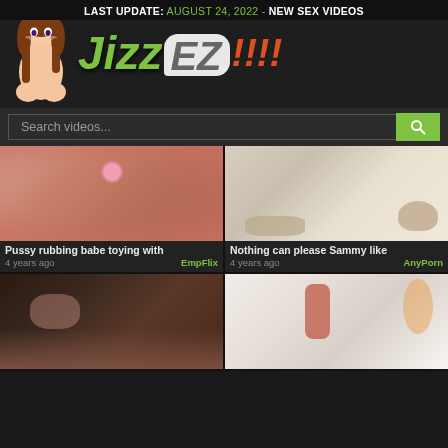LAST UPDATE: AUGUST 24, 2022 - NEW SEX VIDEOS
[Figure (logo): JizzEZ!!!! website logo with anime mascot character and green/grey stylized text]
Search videos...
Pussy rubbing babe toying with | 4 years ago | EmpFlix
Nothing can please Sammy like | 4 years ago | AnyPorn
[Figure (photo): Video thumbnail - bottom left video card]
[Figure (photo): Video thumbnail - bottom right video card]